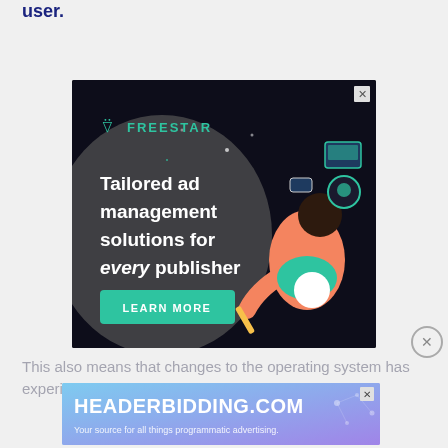user.
[Figure (illustration): Freestar advertisement: dark background with illustrated figure, text 'Tailored ad management solutions for every publisher', green LEARN MORE button, Freestar logo top left, close X top right]
This also means that changes to the operating system has experienced several rapid and major changes
[Figure (illustration): HEADERBIDDING.COM advertisement banner: blue/purple gradient background, white bold text 'HEADERBIDDING.COM', subtitle 'Your source for all things programmatic advertising.', close X top right]